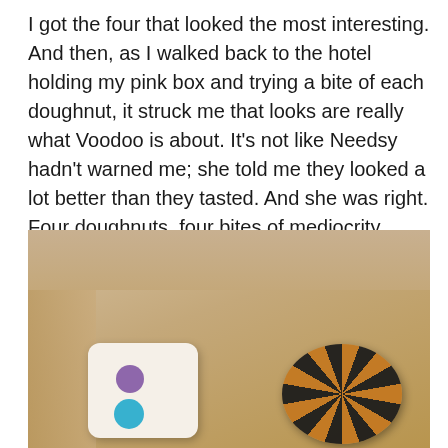I got the four that looked the most interesting. And then, as I walked back to the hotel holding my pink box and trying a bite of each doughnut, it struck me that looks are really what Voodoo is about. It's not like Needsy hadn't warned me; she told me they looked a lot better than they tasted. And she was right. Four doughnuts, four bites of mediocrity. Even with the warning, I was very, very disappointed. I'd say even BabycakesNYCLA's doughnuts are better, and that's not saying much.
[Figure (photo): Photo taken from inside a cardboard box showing doughnuts — one white square doughnut with purple and teal circular decorations, and one dark swirled doughnut on the right side.]